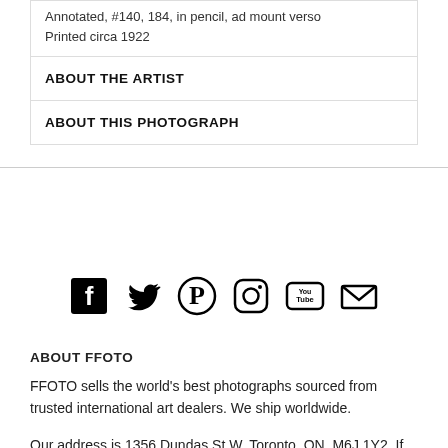Annotated, #140, 184, in pencil, ad mount verso
Printed circa 1922
ABOUT THE ARTIST
ABOUT THIS PHOTOGRAPH
[Figure (infographic): Social media icons: Facebook, Twitter, Pinterest, Instagram, YouTube, Email]
ABOUT FFOTO
FFOTO sells the world's best photographs sourced from trusted international art dealers. We ship worldwide.
Our address is 1356 Dundas St W, Toronto, ON, M6J 1Y2. If you